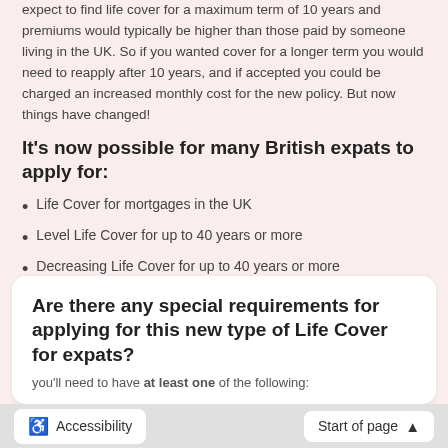expect to find life cover for a maximum term of 10 years and premiums would typically be higher than those paid by someone living in the UK. So if you wanted cover for a longer term you would need to reapply after 10 years, and if accepted you could be charged an increased monthly cost for the new policy. But now things have changed!
It's now possible for many British expats to apply for:
Life Cover for mortgages in the UK
Level Life Cover for up to 40 years or more
Decreasing Life Cover for up to 40 years or more
Whole of Life Cover
Are there any special requirements for applying for this new type of Life Cover for expats?
you'll need to have at least one of the following:
Accessibility   Start of page ↑